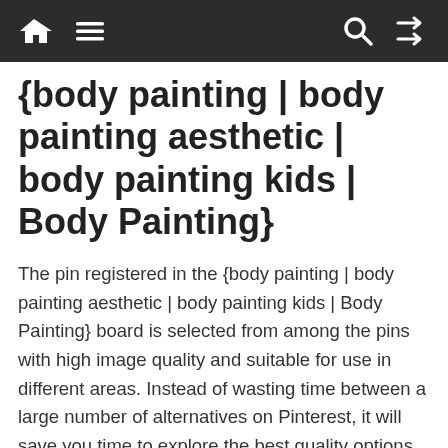Navigation bar with home, menu, search, and shuffle icons
{body painting | body painting aesthetic | body painting kids | Body Painting}
The pin registered in the {body painting | body painting aesthetic | body painting kids | Body Painting} board is selected from among the pins with high image quality and suitable for use in different areas. Instead of wasting time between a large number of alternatives on Pinterest, it will save you time to explore the best quality options on my profile. The pin, which has a pin description as follow: {body painting | body painting aesthetic | body painting kids | Body Painting} , fully